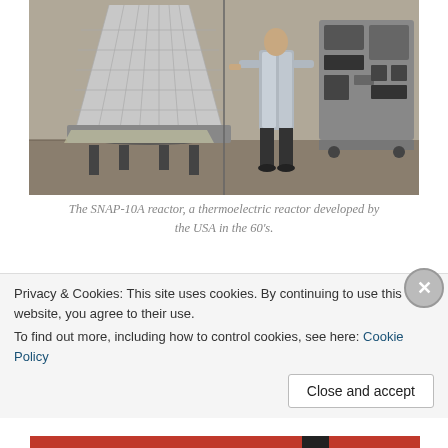[Figure (photo): Black and white photograph of the SNAP-10A reactor, a large cone-shaped thermoelectric reactor, with a person in a lab coat standing next to it for scale. Equipment and panels visible in the background.]
The SNAP-10A reactor, a thermoelectric reactor developed by the USA in the 60's.
Thermoelectric Fission Reactors are heat engines as well. However, instead of passing the hot coolant
Privacy & Cookies: This site uses cookies. By continuing to use this website, you agree to their use.
To find out more, including how to control cookies, see here: Cookie Policy